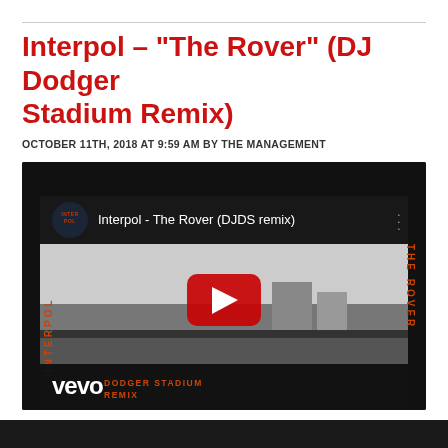Interpol – "The Rover" (DJ Dodger Stadium Remix)
OCTOBER 11TH, 2018 AT 9:59 AM BY THE MANAGEMENT
[Figure (screenshot): YouTube video player thumbnail for Interpol - The Rover (DJDS remix) on Vevo. Dark frame with grayscale landscape video thumbnail, red YouTube play button in center, channel icon top-left, orange rotated 'INTERPOL' text on left side and 'THE ROVER' text on right side, Vevo branding with 'DODGER STADIUM REMIX' text at bottom.]